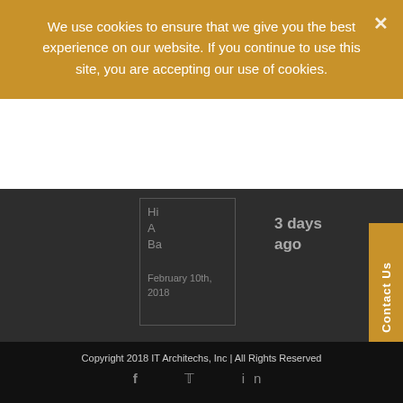We use cookies to ensure that we give you the best experience on our website. If you continue to use this site, you are accepting our use of cookies.
Hi
A
Ba
February 10th, 2018
3 days ago
Contact Us
Copyright 2018 IT Architechs, Inc | All Rights Reserved
f  in